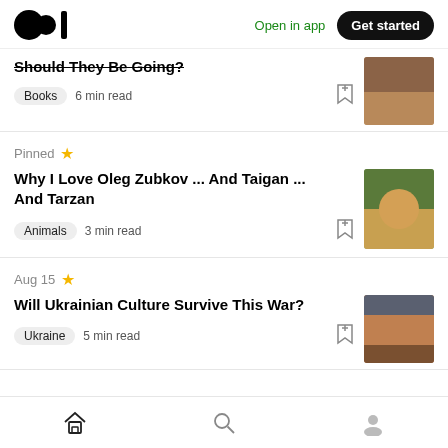Medium logo | Open in app | Get started
Should They Be Going?
Books  6 min read
Pinned
Why I Love Oleg Zubkov ... And Taigan ... And Tarzan
Animals  3 min read
Aug 15
Will Ukrainian Culture Survive This War?
Ukraine  5 min read
Home | Search | Profile